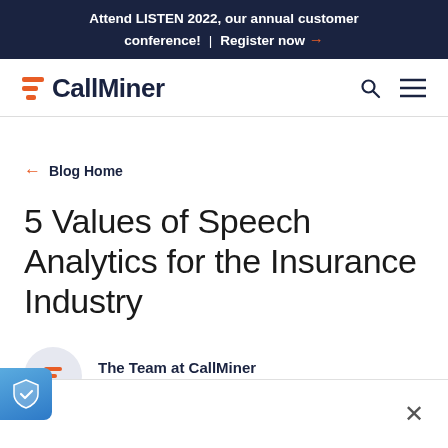Attend LISTEN 2022, our annual customer conference! | Register now →
[Figure (logo): CallMiner logo with orange horizontal bars and dark navy wordmark]
← Blog Home
5 Values of Speech Analytics for the Insurance Industry
The Team at CallMiner
September 05, 2018